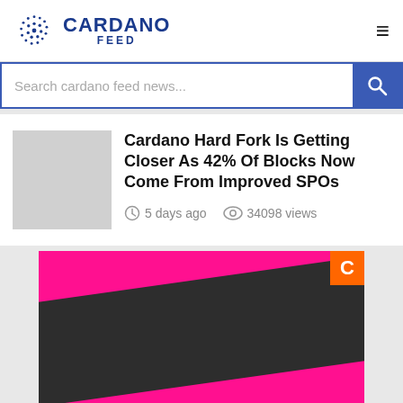CARDANO FEED
Search cardano feed news...
Cardano Hard Fork Is Getting Closer As 42% Of Blocks Now Come From Improved SPOs
5 days ago   34098 views
[Figure (photo): Dark background image with diagonal hot pink stripes, Coindesk orange badge in top right corner]